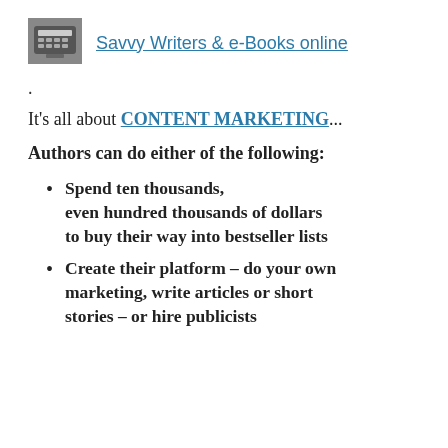[Figure (logo): Typewriter logo image for Savvy Writers & e-Books online]
Savvy Writers & e-Books online
.
It's all about CONTENT MARKETING...
Authors can do either of the following:
Spend ten thousands, even hundred thousands of dollars to buy their way into bestseller lists
Create their platform – do your own marketing, write articles or short stories – or hire publicists